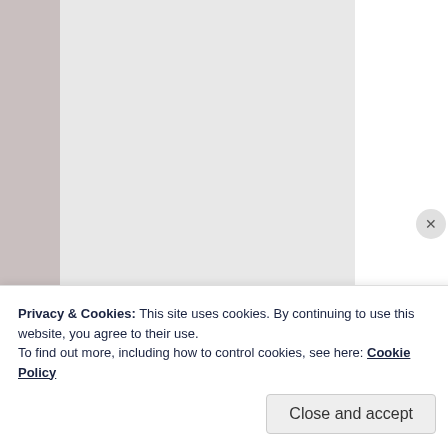[Figure (photo): Light gray image placeholder box, representing a photo of a glass (Half Empty Or Half Full)]
— Half Empty Or Half Full? (Photo credit: MarkyBon)
REPORT THIS AD
Privacy & Cookies: This site uses cookies. By continuing to use this website, you agree to their use.
To find out more, including how to control cookies, see here: Cookie Policy
Close and accept